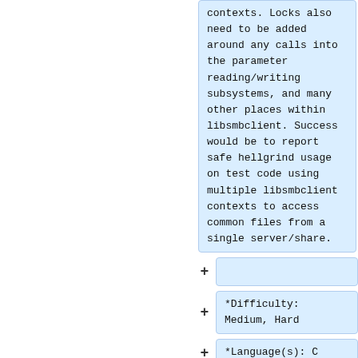contexts. Locks also need to be added around any calls into the parameter reading/writing subsystems, and many other places within libsmbclient. Success would be to report safe hellgrind usage on test code using multiple libsmbclient contexts to access common files from a single server/share.
*Difficulty: Medium, Hard
*Language(s): C